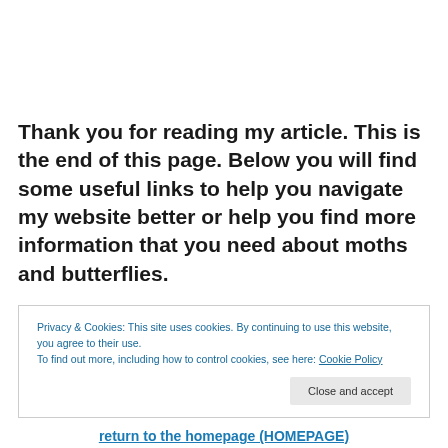Thank you for reading my article. This is the end of this page. Below you will find some useful links to help you navigate my website better or help you find more information that you need about moths and butterflies.
Privacy & Cookies: This site uses cookies. By continuing to use this website, you agree to their use.
To find out more, including how to control cookies, see here: Cookie Policy
[Close and accept]
return to the homepage (HOMEPAGE)